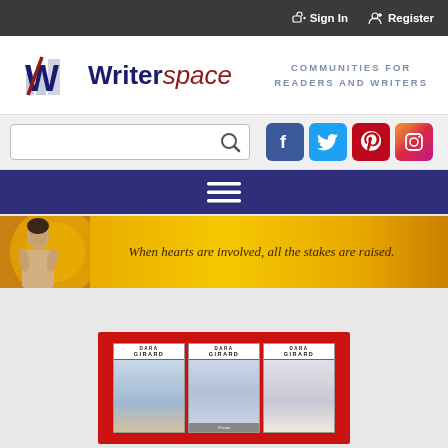Sign In   Register
[Figure (logo): Writerspace logo with stylized W icon and buildings silhouette]
COMMUNITIES FOR READERS AND WRITERS
[Figure (screenshot): Search bar with magnifying glass icon]
[Figure (infographic): Social media icons: Facebook, Twitter, Pinterest, Instagram]
[Figure (infographic): Navigation hamburger menu (three horizontal lines) on dark blue background]
[Figure (photo): Banner with man's photo on golden yellow background with italic text: When hearts are involved, all the stakes are raised.]
[Figure (photo): Three Dara Girard book covers displayed on a red background]